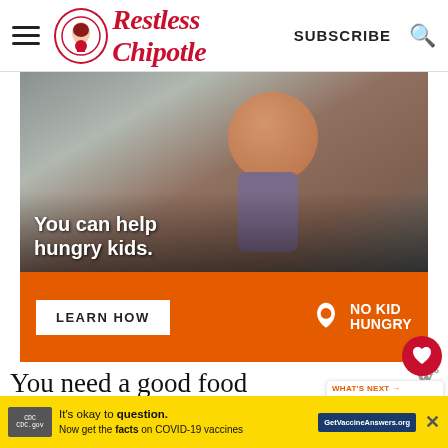Restless Chipotle — SUBSCRIBE
[Figure (photo): Advertisement banner for No Kid Hungry. Shows a young boy eating something, with text 'You can help hungry kids.' overlaid on the photo. Orange bar at bottom with 'LEARN HOW' button and No Kid Hungry logo.]
You need a good food processor or blender to get a smooth texture in the...
WHAT'S NEXT → BEST Thanksgivin...
It's okay to question. Now get the facts on COVID-19 vaccines GetVaccineAnswers.org